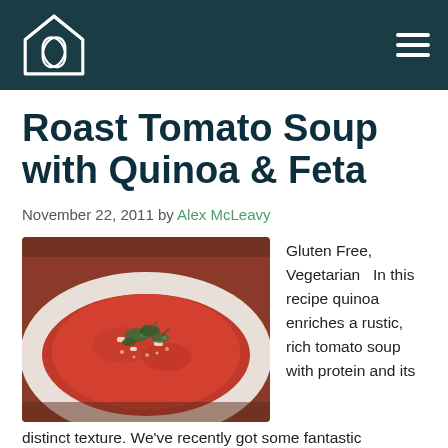Navigation header with logo and menu icon
Roast Tomato Soup with Quinoa & Feta
November 22, 2011 by Alex McLeavy
[Figure (photo): A white bowl of roast tomato soup topped with crumbled feta, quinoa, and fresh herbs]
Gluten Free, Vegetarian   In this recipe quinoa enriches a rustic, rich tomato soup with protein and its distinct texture. We've recently got some fantastic Australian